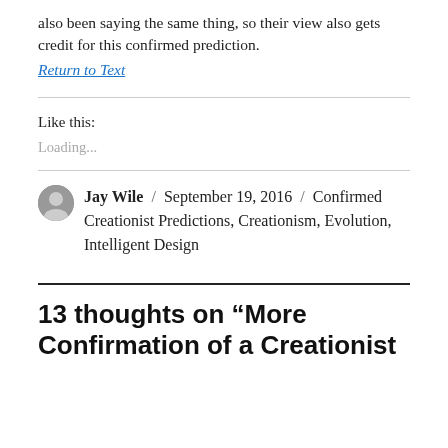also been saying the same thing, so their view also gets credit for this confirmed prediction.
Return to Text
Like this:
Loading...
Jay Wile / September 19, 2016 / Confirmed Creationist Predictions, Creationism, Evolution, Intelligent Design
13 thoughts on “More Confirmation of a Creationist